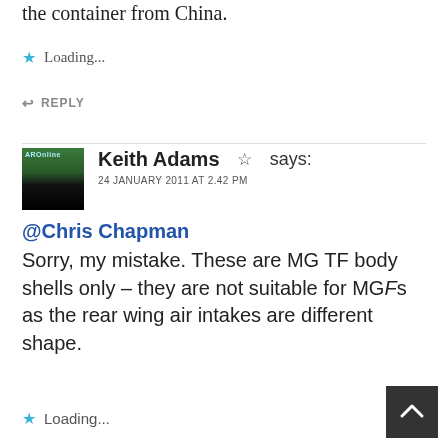the container from China.
Loading...
REPLY
Keith Adams ☆ says:
24 JANUARY 2011 AT 2.42 PM
@Chris Chapman
Sorry, my mistake. These are MG TF body shells only – they are not suitable for MGFs as the rear wing air intakes are different shape.
Loading...